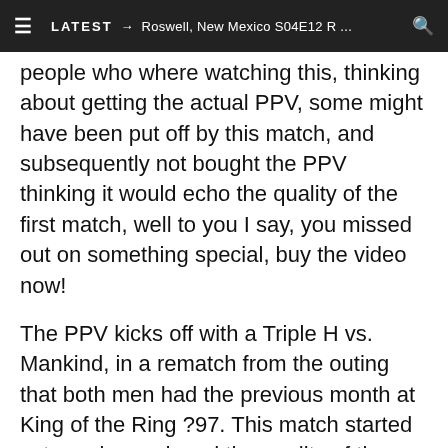≡  LATEST → Roswell, New Mexico S04E12 R ...  🔍
people who where watching this, thinking about getting the actual PPV, some might have been put off by this match, and subsequently not bought the PPV thinking it would echo the quality of the first match, well to you I say, you missed out on something special, buy the video now!
The PPV kicks off with a Triple H vs. Mankind, in a rematch from the outing that both men had the previous month at King of the Ring ?97. This match started extremely good, and the quality of the match stayed throughout. The crowd were extremely pumped for this match, and both men